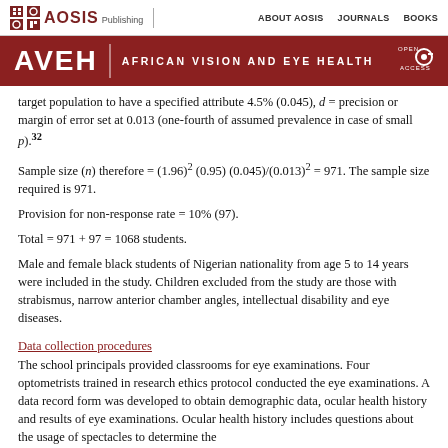AVEH | AFRICAN VISION AND EYE HEALTH — AOSIS Publishing — ABOUT AOSIS | JOURNALS | BOOKS
target population to have a specified attribute 4.5% (0.045), d = precision or margin of error set at 0.013 (one-fourth of assumed prevalence in case of small p).32
Sample size (n) therefore = (1.96)2 (0.95) (0.045)/(0.013)2 = 971. The sample size required is 971.
Provision for non-response rate = 10% (97).
Total = 971 + 97 = 1068 students.
Male and female black students of Nigerian nationality from age 5 to 14 years were included in the study. Children excluded from the study are those with strabismus, narrow anterior chamber angles, intellectual disability and eye diseases.
Data collection procedures
The school principals provided classrooms for eye examinations. Four optometrists trained in research ethics protocol conducted the eye examinations. A data record form was developed to obtain demographic data, ocular health history and results of eye examinations. Ocular health history includes questions about the usage of spectacles to determine the